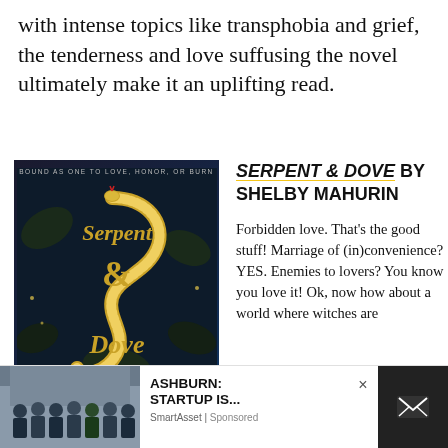with intense topics like transphobia and grief, the tenderness and love suffusing the novel ultimately make it an uplifting read.
[Figure (photo): Book cover of Serpent & Dove by Shelby Mahurin. Dark background with a golden serpent coiled in the shape of an ampersand, surrounded by dark flowers. Text reads 'BOUND AS ONE TO LOVE, HONOR, OR BURN' at top.]
SERPENT & DOVE BY SHELBY MAHURIN
Forbidden love. That's the good stuff! Marriage of (in)convenience? YES. Enemies to lovers? You know you love it! Ok, now how about a world where witches are
[Figure (photo): Advertisement overlay: Photo of a group of people standing together, with text 'ASHBURN: STARTUP IS...' and source 'SmartAsset | Sponsored', with a close button (×) and email icon on black background.]